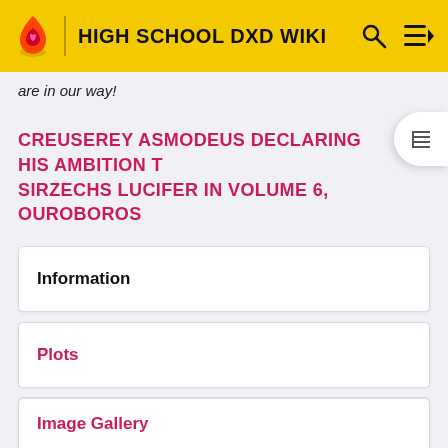HIGH SCHOOL DXD WIKI
are in our way!
CREUSEREY ASMODEUS DECLARING HIS AMBITION T… SIRZECHS LUCIFER IN VOLUME 6, OUROBOROS
Information
Plots
Image Gallery
Relationships